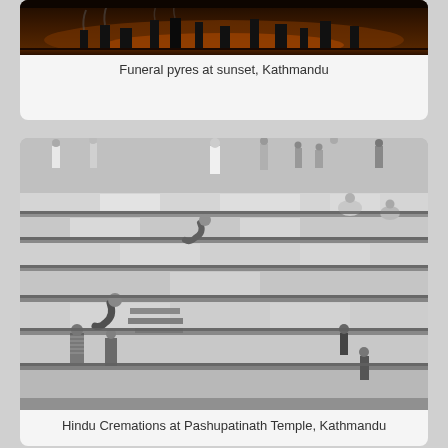[Figure (photo): Funeral pyres at sunset, Kathmandu - dark sky with silhouettes]
Funeral pyres at sunset, Kathmandu
[Figure (photo): Black and white aerial view of Hindu cremations at Pashupatinath Temple, Kathmandu - people on stone steps by a river]
Hindu Cremations at Pashupatinath Temple, Kathmandu